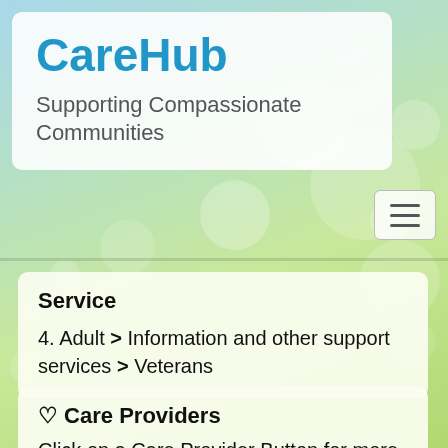CareHub
Supporting Compassionate Communities
Service
4. Adult > Information and other support services > Veterans
♡ Care Providers
Click on a Care Provider Button for more information